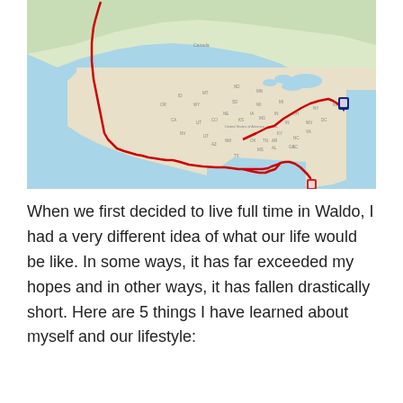[Figure (map): A road map of North America showing a red travel route tracing across the United States, going from the Pacific Northwest/Canada border area down through the western states, across the southern US, up to Florida and also to the northeastern US. A dark blue destination pin is shown in the northeastern US and a red pin is shown in Florida/southeastern US.]
When we first decided to live full time in Waldo, I had a very different idea of what our life would be like. In some ways, it has far exceeded my hopes and in other ways, it has fallen drastically short. Here are 5 things I have learned about myself and our lifestyle: